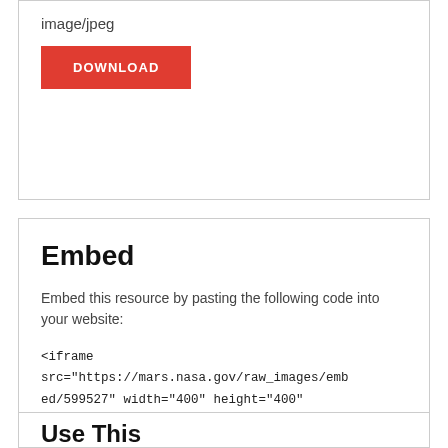image/jpeg
DOWNLOAD
Embed
Embed this resource by pasting the following code into your website:
<iframe src="https://mars.nasa.gov/raw_images/embed/599527" width="400" height="400" scrolling="no" frameborder="0"></iframe>